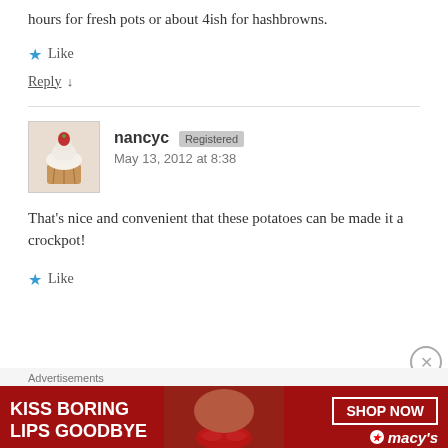hours for fresh pots or about 4ish for hashbrowns.
Like
Reply ↓
[Figure (photo): Avatar photo of commenter nancyc — a cupcake with frosting and a strawberry on top]
nancyc [Registered] May 13, 2012 at 8:38
That's nice and convenient that these potatoes can be made it a crockpot!
Like
[Figure (photo): Macy's advertisement banner: 'KISS BORING LIPS GOODBYE' with a woman's face and red lips, with a 'SHOP NOW' button and Macy's logo]